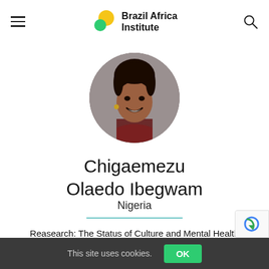Brazil Africa Institute
[Figure (photo): Circular profile photo of Chigaemezu Olaedo Ibegwam, a young woman smiling, wearing a dark red turtleneck]
Chigaemezu Olaedo Ibegwam
Nigeria
Reasearch: The Status of Culture and Mental Health in Brazil
This site uses cookies.